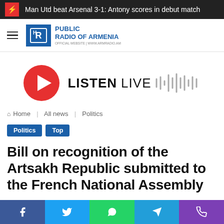Man Utd beat Arsenal 3-1: Antony scores in debut match
[Figure (logo): Public Radio of Armenia logo with hamburger menu icon]
[Figure (infographic): Listen Live button with play icon and audio waveform graphic]
Home | All news | Politics
Politics  Top
Bill on recognition of the Artsakh Republic submitted to the French National Assembly